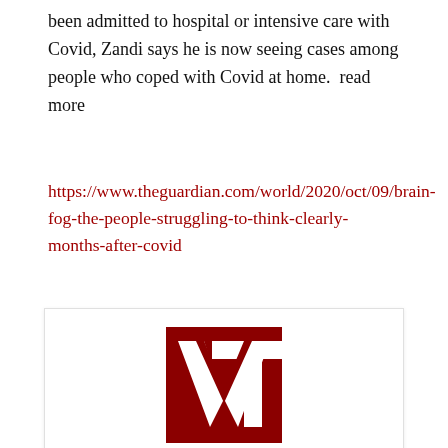been admitted to hospital or intensive care with Covid, Zandi says he is now seeing cases among people who coped with Covid at home.  read more
https://www.theguardian.com/world/2020/oct/09/brain-fog-the-people-struggling-to-think-clearly-months-after-covid
[Figure (logo): VT (Veterans Today) logo — dark red square with large white letters V and T]
VT Editors
VT Editors is a General Posting account managed by Jim